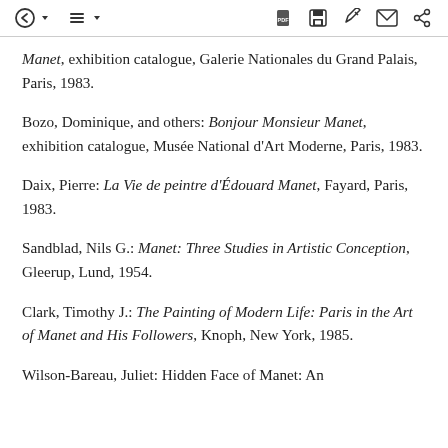[toolbar UI]
Manet, exhibition catalogue, Galerie Nationales du Grand Palais, Paris, 1983.
Bozo, Dominique, and others: Bonjour Monsieur Manet, exhibition catalogue, Musée National d'Art Moderne, Paris, 1983.
Daix, Pierre: La Vie de peintre d'Édouard Manet, Fayard, Paris, 1983.
Sandblad, Nils G.: Manet: Three Studies in Artistic Conception, Gleerup, Lund, 1954.
Clark, Timothy J.: The Painting of Modern Life: Paris in the Art of Manet and His Followers, Knoph, New York, 1985.
Wilson-Bareau, Juliet: Hidden Face of Manet: An